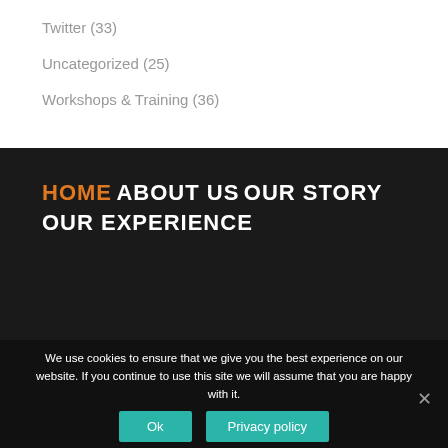Twitter (33)
Uncategorized (25)
Workshops & Training (36)
HOME
ABOUT US
OUR STORY
OUR EXPERIENCE
We use cookies to ensure that we give you the best experience on our website. If you continue to use this site we will assume that you are happy with it.